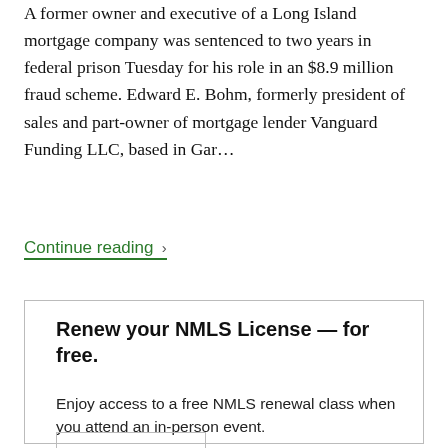A former owner and executive of a Long Island mortgage company was sentenced to two years in federal prison Tuesday for his role in an $8.9 million fraud scheme. Edward E. Bohm, formerly president of sales and part-owner of mortgage lender Vanguard Funding LLC, based in Gar...
Continue reading >
Renew your NMLS License — for free.
Enjoy access to a free NMLS renewal class when you attend an in-person event.